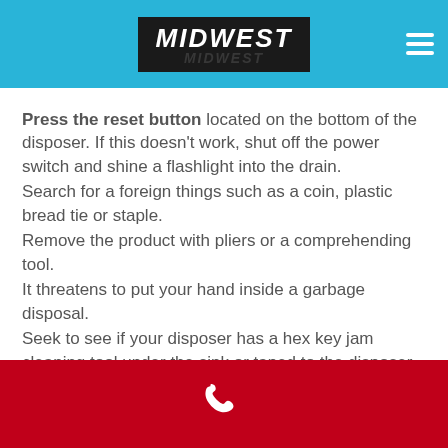MIDWEST
Press the reset button located on the bottom of the disposer. If this doesn't work, shut off the power switch and shine a flashlight into the drain. Search for a foreign things such as a coin, plastic bread tie or staple. Remove the product with pliers or a comprehending tool. It threatens to put your hand inside a garbage disposal. Seek to see if your disposer has a hex key jam cleaning tool under the sink or taped to the disposer. Check for a slot at the bottom of the disposer where the tool can be inserted and reversed and forth to clear the jam.